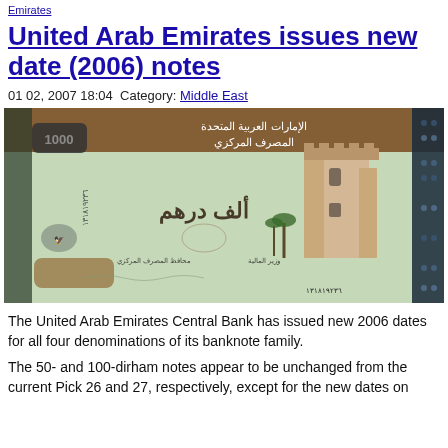Emirates
United Arab Emirates issues new date (2006) notes
01 02, 2007 18:04 Category: Middle East
[Figure (photo): Image of a United Arab Emirates 1000 dirham banknote showing Arabic text, a fort/tower, a falcon, and serial numbers.]
The United Arab Emirates Central Bank has issued new 2006 dates for all four denominations of its banknote family.
The 50- and 100-dirham notes appear to be unchanged from the current Pick 26 and 27, respectively, except for the new dates on